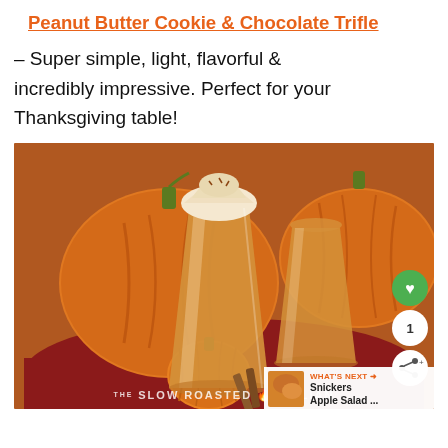Peanut Butter Cookie & Chocolate Trifle
– Super simple, light, flavorful & incredibly impressive. Perfect for your Thanksgiving table!
[Figure (photo): Two tall glasses filled with a creamy pumpkin-colored smoothie/drink, topped with whipped cream on the front glass, set against a backdrop of large orange pumpkins on a red tablecloth. Small orange pumpkin in foreground left. The Slow Roasted Italian watermark at bottom. Social interaction buttons (heart, count '1', share) on right side. 'What's Next' thumbnail overlay showing Snickers Apple Salad.]